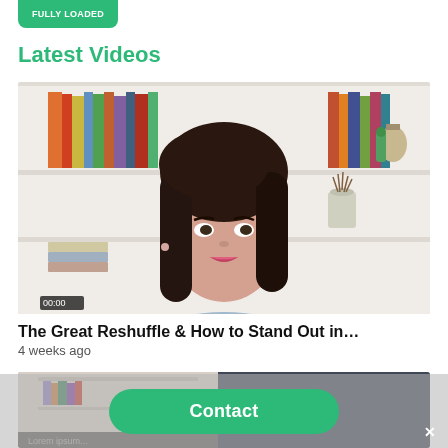FULLY LOADED
Latest Videos
[Figure (photo): A woman with dark hair wearing a light blue sleeveless top, speaking in front of a white bookshelf with books and decorative items.]
The Great Reshuffle & How to Stand Out in…
4 weeks ago
[Figure (photo): Second video thumbnail, partially visible, showing a similar home office background.]
Contact